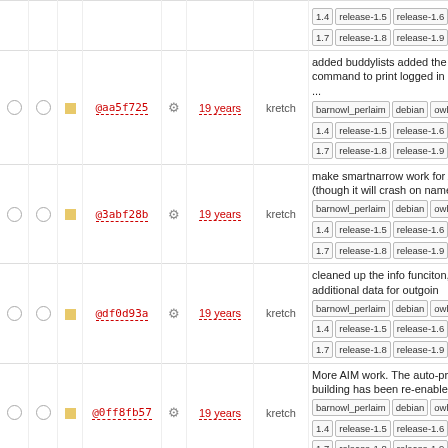|  |  |  | Hash |  | Age | Author | Description |
| --- | --- | --- | --- | --- | --- | --- | --- |
|  |  |  | @aa5f725 |  | 19 years | kretch | added buddylists added the 'alis command to print logged in aimusers ... [barnowl_perlaim][debian][owl][rel...] 1.4 release-1.5 release-1.6 releas... 1.7 release-1.8 release-1.9 |
|  |  |  | @3abf28b |  | 19 years | kretch | make smartnarrow work for AIM (though it will crash on names w ... [barnowl_perlaim][debian][owl][rel...] 1.4 release-1.5 release-1.6 releas... 1.7 release-1.8 release-1.9 |
|  |  |  | @df0d93a |  | 19 years | kretch | cleaned up the info funciton, pu back additional data for outgoin... [barnowl_perlaim][debian][owl][rel...] 1.4 release-1.5 release-1.6 releas... 1.7 release-1.8 release-1.9 |
|  |  |  | @0ff8fb57 |  | 19 years | kretch | More AIM work. The auto-proto building has been re-enabled as well. [barnowl_perlaim][debian][owl][rel...] 1.4 release-1.5 release-1.6 releas... 1.7 release-1.8 release-1.9 |
|  |  |  | @440ce01 |  | 19 years | kretch | added owl_prototypes.h to repository fix outgoing aim message to send ... [barnowl_perlaim][debian][owl][rel...] 1.4 release-1.5 release-1.6 releas... 1.7 release-1.8 release-1.9 |
|  |  |  | @d09e5a1 |  | 19 years | kretch | Added libfaim Added basic AIM support, including the "aimlogin... [barnowl_perlaim][debian][owl]... |